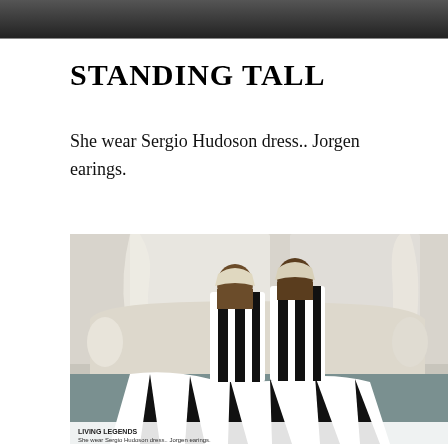[Figure (photo): Top portion of a photograph cropped at the top of the page, dark tones]
STANDING TALL
She wear Sergio Hudoson dress.. Jorgen earings.
[Figure (photo): Two Black women wearing bold black-and-white striped dresses, reclining on a white sofa in an elegant room. The dress fabric spreads dramatically across the floor. Both women have head wraps. Caption at bottom reads 'LIVING LEGENDS'.]